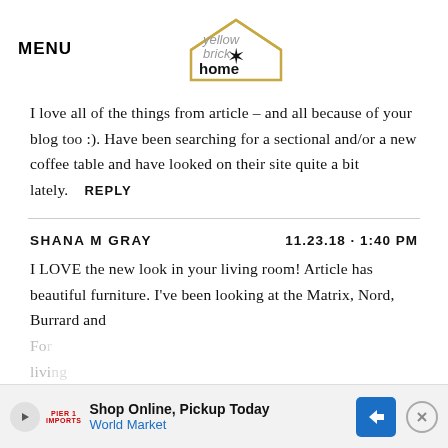MENU — Yellow Brick Home logo
I love all of the things from article – and all because of your blog too :). Have been searching for a sectional and/or a new coffee table and have looked on their site quite a bit lately. REPLY
SHANA M GRAY   11.23.18 · 1:40 PM
I LOVE the new look in your living room! Article has beautiful furniture. I've been looking at the Matrix, Nord, Burrard and
[Figure (infographic): Advertisement banner: Shop Online, Pickup Today – World Market, with play button, logo, navigation arrow icon, and close X button]